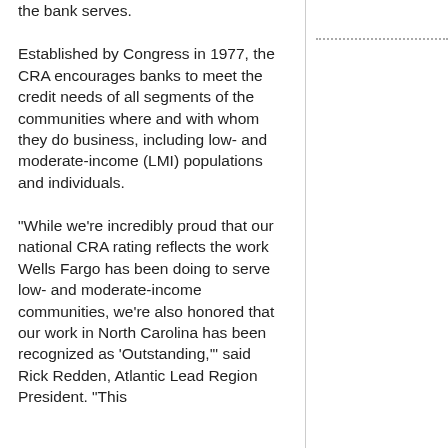the bank serves.
Established by Congress in 1977, the CRA encourages banks to meet the credit needs of all segments of the communities where and with whom they do business, including low- and moderate-income (LMI) populations and individuals.
"While we're incredibly proud that our national CRA rating reflects the work Wells Fargo has been doing to serve low- and moderate-income communities, we're also honored that our work in North Carolina has been recognized as 'Outstanding,'" said Rick Redden, Atlantic Lead Region President. "This